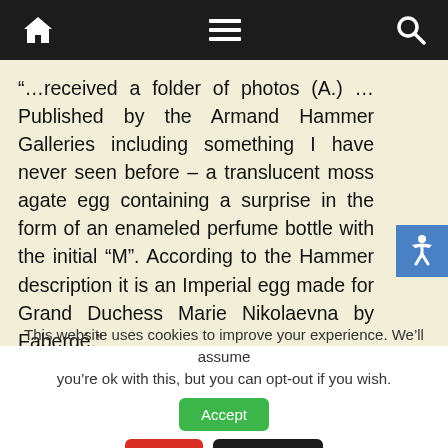Navigation bar with home, menu, and search icons
“…received a folder of photos (A.) … Published by the Armand Hammer Galleries including something I have never seen before – a translucent moss agate egg containing a surprise in the form of an enameled perfume bottle with the initial “M”. According to the Hammer description it is an Imperial egg made for Grand Duchess Marie Nikolaevna by Fabergé.”
This website uses cookies to improve your experience. We’ll assume you’re ok with this, but you can opt-out if you wish.
Accept
Reject
Read More